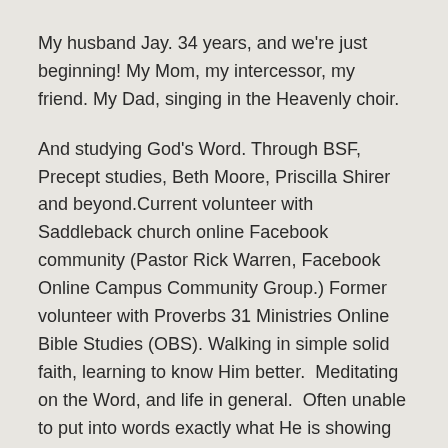My husband Jay. 34 years, and we're just beginning! My Mom, my intercessor, my friend. My Dad, singing in the Heavenly choir.
And studying God's Word. Through BSF, Precept studies, Beth Moore, Priscilla Shirer and beyond.Current volunteer with Saddleback church online Facebook community (Pastor Rick Warren, Facebook Online Campus Community Group.) Former volunteer with Proverbs 31 Ministries Online Bible Studies (OBS). Walking in simple solid faith, learning to know Him better.  Meditating on the Word, and life in general.  Often unable to put into words exactly what He is showing me. Futile yet sincere attempts at sharing His greatness, His Word, His plan.